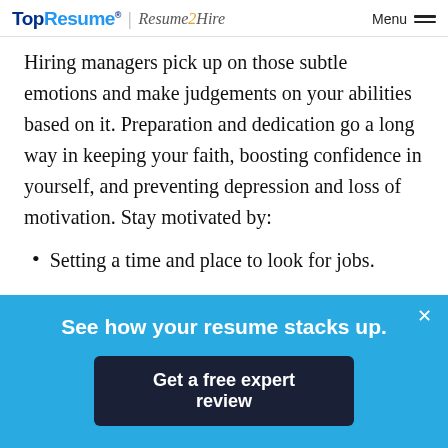TopResume® | Resume2Hire   Menu
Hiring managers pick up on those subtle emotions and make judgements on your abilities based on it. Preparation and dedication go a long way in keeping your faith, boosting confidence in yourself, and preventing depression and loss of motivation. Stay motivated by:
Setting a time and place to look for jobs.
Taking classes.
See how your resume stacks up.
Get a free expert review